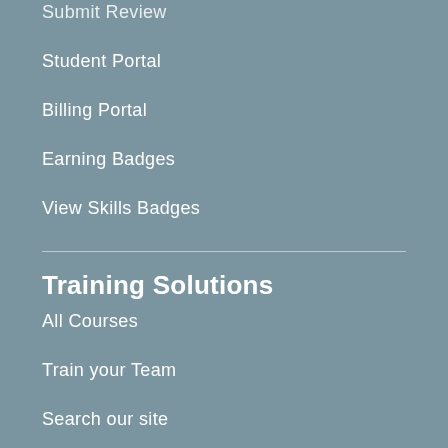Submit Review
Student Portal
Billing Portal
Earning Badges
View Skills Badges
Training Solutions
All Courses
Train your Team
Search our site
Courses in Australia